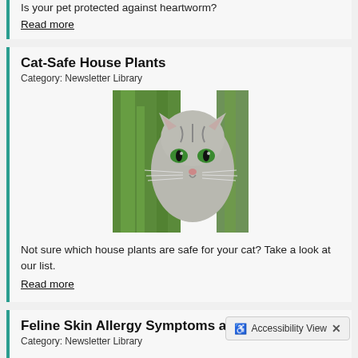Is your pet protected against heartworm?
Read more
Cat-Safe House Plants
Category: Newsletter Library
[Figure (photo): A gray tabby cat with bright green eyes peering through green foliage and house plants.]
Not sure which house plants are safe for your cat? Take a look at our list.
Read more
Feline Skin Allergy Symptoms and Care
Category: Newsletter Library